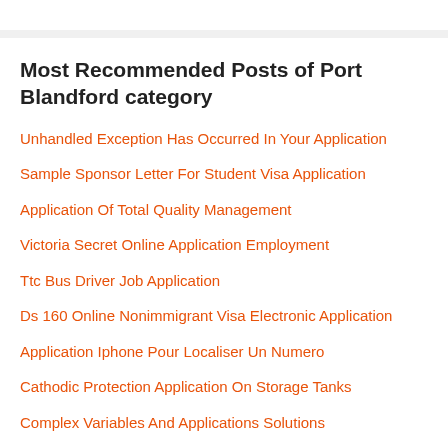Most Recommended Posts of Port Blandford category
Unhandled Exception Has Occurred In Your Application
Sample Sponsor Letter For Student Visa Application
Application Of Total Quality Management
Victoria Secret Online Application Employment
Ttc Bus Driver Job Application
Ds 160 Online Nonimmigrant Visa Electronic Application
Application Iphone Pour Localiser Un Numero
Cathodic Protection Application On Storage Tanks
Complex Variables And Applications Solutions